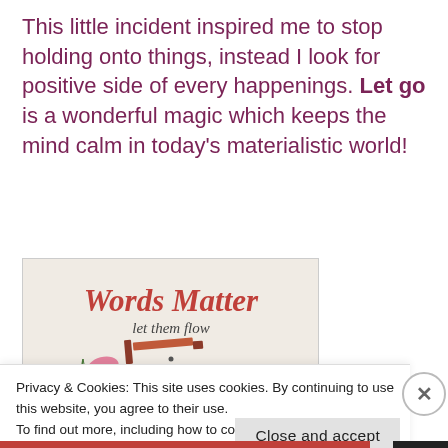This little incident inspired me to stop holding onto things, instead I look for positive side of every happenings. Let go is a wonderful magic which keeps the mind calm in today's materialistic world!
[Figure (illustration): Words Matter blog hop banner image with italic script title 'Words Matter', subtitle 'let them flow', a pencil icon, and text 'Join this Monthly BlogHop with' on a textured beige background with a vine and butterfly decoration]
Privacy & Cookies: This site uses cookies. By continuing to use this website, you agree to their use.
To find out more, including how to control cookies, see here: Cookie Policy
Close and accept